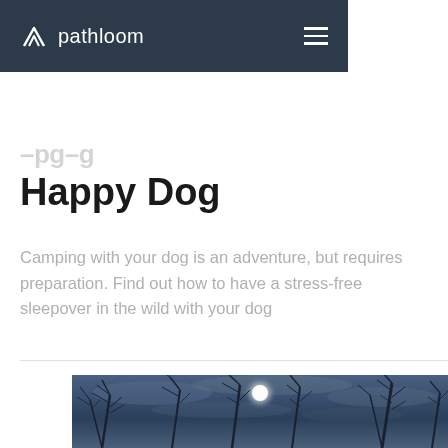pathloom
Happy Dog
Camping with your dog is an adventure, but requires preparation. Find out how to have a stress-free sleepover in the wild with your dog
[Figure (photo): Upward view of bare winter trees against a dramatic overcast sky with the sun visible through the branches]